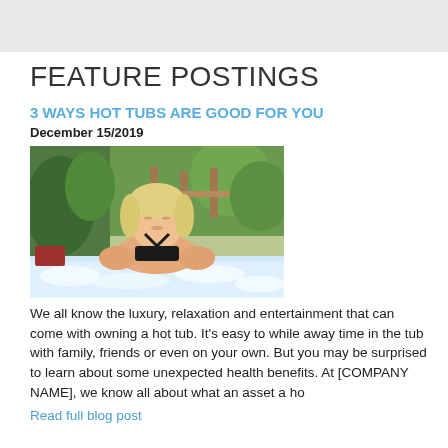FEATURE POSTINGS
3 WAYS HOT TUBS ARE GOOD FOR YOU
December 15/2019
[Figure (photo): Woman relaxing in a hot tub outdoors, surrounded by greenery and wooden structures. She is wearing a black swimsuit with blonde hair, eyes closed, arms resting on the tub edges.]
We all know the luxury, relaxation and entertainment that can come with owning a hot tub. It’s easy to while away time in the tub with family, friends or even on your own. But you may be surprised to learn about some unexpected health benefits. At [COMPANY NAME], we know all about what an asset a ho
Read full blog post